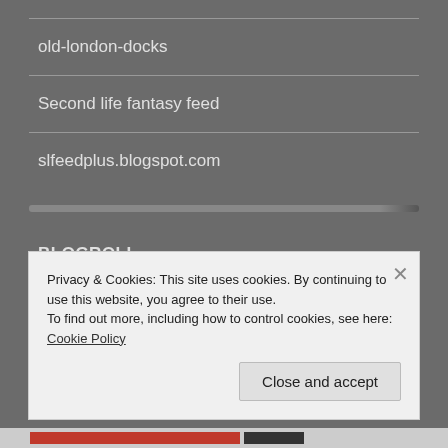old-london-docks
Second life fantasy feed
slfeedplus.blogspot.com
BLOGROLL
Blogging second life
Privacy & Cookies: This site uses cookies. By continuing to use this website, you agree to their use.
To find out more, including how to control cookies, see here: Cookie Policy
Close and accept